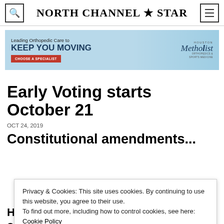North Channel Star
[Figure (illustration): Houston Methodist orthopedic care advertisement banner with text 'Leading Orthopedic Care to KEEP YOU MOVING' and 'CHOOSE A SPECIALIST' button with Houston Methodist Orthopedics & Sports Medicine logo]
Early Voting starts October 21
OCT 24, 2019
Constitutional amendments...
Privacy & Cookies: This site uses cookies. By continuing to use this website, you agree to their use.
To find out more, including how to control cookies, see here: Cookie Policy
Close and accept
Harris County area residents will vote on 10